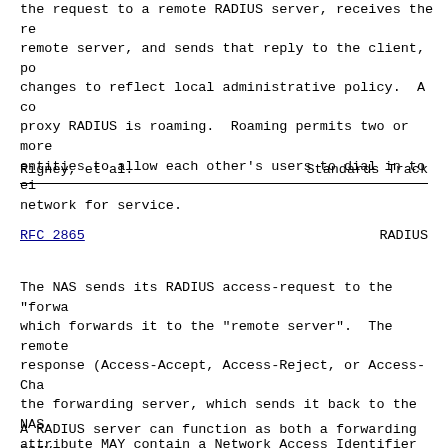the request to a remote RADIUS server, receives the re remote server, and sends that reply to the client, po changes to reflect local administrative policy.  A co proxy RADIUS is roaming.  Roaming permits two or more entities to allow each other's users to dial in to ei network for service.
Rigney, et al.                    Standards Track
RFC 2865                          RADIUS
The NAS sends its RADIUS access-request to the "forwa which forwards it to the "remote server".  The remote response (Access-Accept, Access-Reject, or Access-Cha the forwarding server, which sends it back to the NAS attribute MAY contain a Network Access Identifier [8] Proxy operations.  The choice of which server receives request SHOULD be based on the authentication "realm" authentication realm MAY be the realm part of a Netwo Identifier (a "named realm").  Alternatively, the cho server receives the forwarded request MAY be based on criteria the forwarding server is configured to use, s Station-Id (a "numbered realm").
A RADIUS server can function as both a forwarding ser server, serving as a forwarding server for some realm